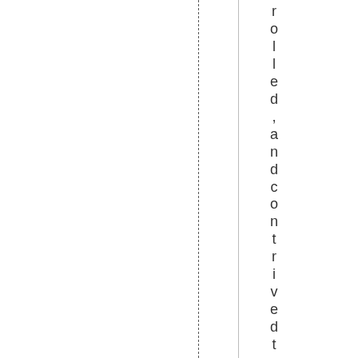rolled ,and contrived to move the ma